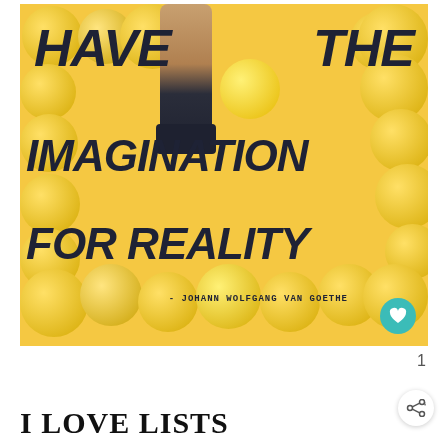[Figure (photo): Photo of a person's arm raised out of a pit of yellow balls, with bold dark handwritten-style text reading 'HAVE THE IMAGINATION FOR REALITY' and attribution '- JOHANN WOLFGANG VAN GOETHE'. A teal heart icon button is in the bottom right corner of the image.]
1
I LOVE LISTS